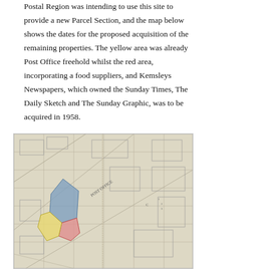Postal Region was intending to use this site to provide a new Parcel Section, and the map below shows the dates for the proposed acquisition of the remaining properties. The yellow area was already Post Office freehold whilst the red area, incorporating a food suppliers, and Kemsleys Newspapers, which owned the Sunday Times, The Daily Sketch and The Sunday Graphic, was to be acquired in 1958.
[Figure (map): Historical map showing a property acquisition plan. Coloured areas indicate different property statuses: a blue quadrilateral shape (upper), a pink/red area (middle), and a yellow area (lower left), overlaid on a detailed street/parcel map with handwritten labels including 'Post Office'.]